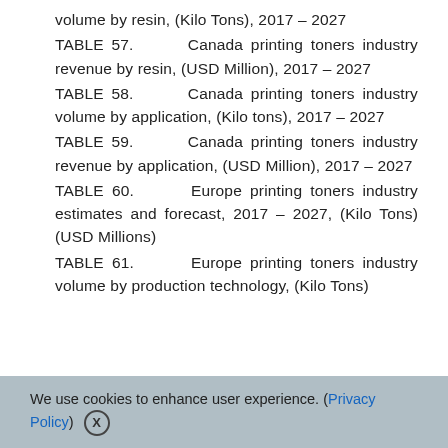volume by resin, (Kilo Tons), 2017 – 2027
TABLE 57.     Canada printing toners industry revenue by resin, (USD Million), 2017 – 2027
TABLE 58.     Canada printing toners industry volume by application, (Kilo tons), 2017 – 2027
TABLE 59.     Canada printing toners industry revenue by application, (USD Million), 2017 – 2027
TABLE 60.     Europe printing toners industry estimates and forecast, 2017 – 2027, (Kilo Tons) (USD Millions)
TABLE 61.     Europe printing toners industry volume by production technology, (Kilo Tons)
We use cookies to enhance user experience. (Privacy Policy) X